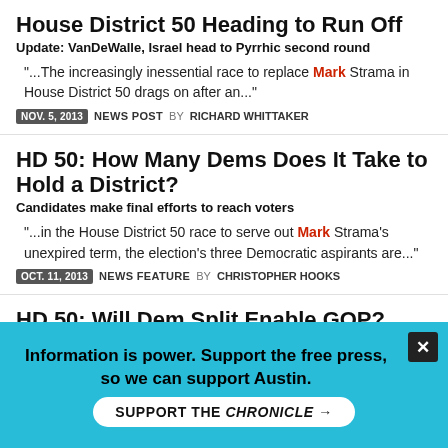House District 50 Heading to Run Off
Update: VanDeWalle, Israel head to Pyrrhic second round
"...The increasingly inessential race to replace Mark Strama in House District 50 drags on after an..."
NOV. 5, 2013  NEWS POST BY RICHARD WHITTAKER
HD 50: How Many Dems Does It Take to Hold a District?
Candidates make final efforts to reach voters
"...in the House District 50 race to serve out Mark Strama's unexpired term, the election's three Democratic aspirants are..."
OCT. 11, 2013  NEWS FEATURE BY CHRISTOPHER HOOKS
HD 50: Will Dem Split Enable GOP?
Front-runners emerge in the race to replace Strama
"...Earlier this summer, the race to replace Mark Strama as the state representative for North Austin's House..."
OCT. 4, 2013  NEWS FEATURE BY CHRISTOPHER HOOKS
Information is power. Support the free press, so we can support Austin.
SUPPORT THE CHRONICLE →